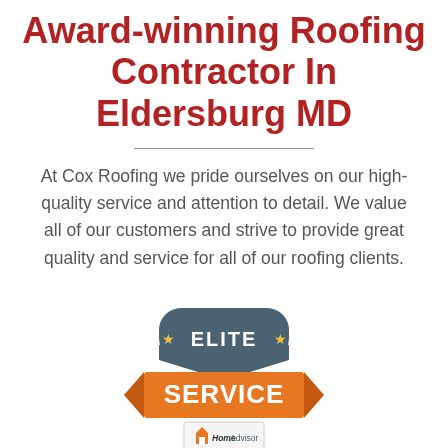Award-winning Roofing Contractor In Eldersburg MD
At Cox Roofing we pride ourselves on our high-quality service and attention to detail. We value all of our customers and strive to provide great quality and service for all of our roofing clients.
[Figure (logo): HomeAdvisor Elite Service badge: a grey shield/banner shape with stars reading ELITE in white, over an orange ribbon banner reading SERVICE in white bold text, with HomeAdvisor logo text and house icon at the bottom.]